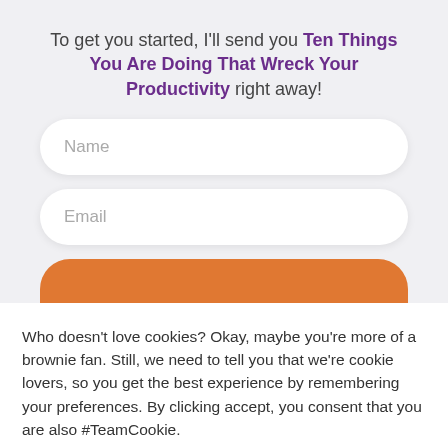To get you started, I'll send you Ten Things You Are Doing That Wreck Your Productivity right away!
[Figure (screenshot): Web form with Name and Email input fields and an orange submit button at the bottom]
Who doesn't love cookies? Okay, maybe you're more of a brownie fan. Still, we need to tell you that we're cookie lovers, so you get the best experience by remembering your preferences. By clicking accept, you consent that you are also #TeamCookie.
Cookie Settings
Accept All